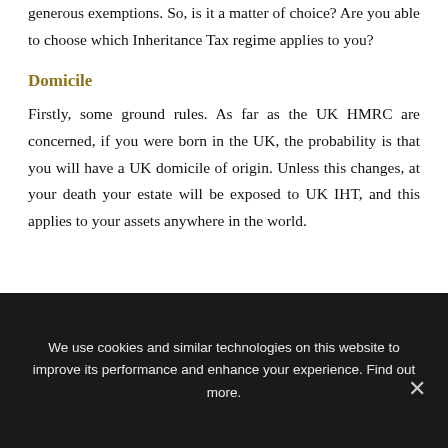inheritance tax in Andalucia provides much more generous exemptions. So, is it a matter of choice? Are you able to choose which Inheritance Tax regime applies to you?
Domicile
Firstly, some ground rules. As far as the UK HMRC are concerned, if you were born in the UK, the probability is that you will have a UK domicile of origin. Unless this changes, at your death your estate will be exposed to UK IHT, and this applies to your assets anywhere in the world.
We use cookies and similar technologies on this website to improve its performance and enhance your experience. Find out more.